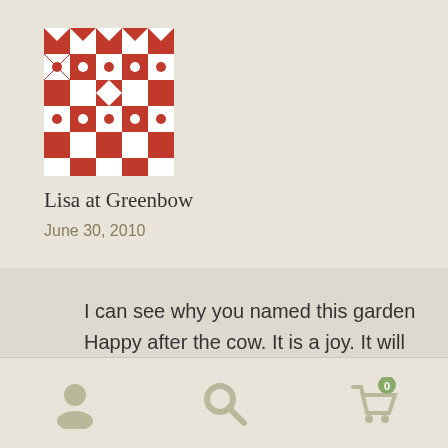[Figure (illustration): Square avatar image with geometric quilt-like pattern in dark red/brown and white, arranged in a symmetrical grid pattern.]
Lisa at Greenbow
June 30, 2010
I can see why you named this garden Happy after the cow. It is a joy. It will be great when it fills in. I can't imagine working so hard in the garden with long sleeves and long pants on this time of year. It
Shipping to U.S. addresses only
Dismiss